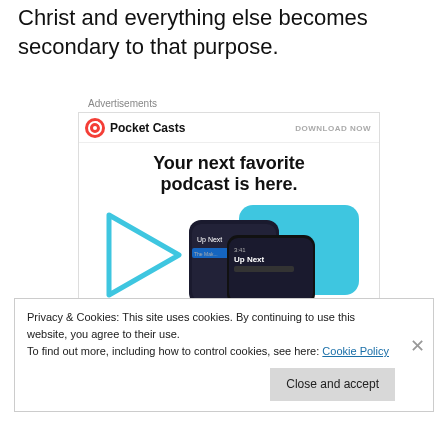Christ and everything else becomes secondary to that purpose.
Advertisements
[Figure (advertisement): Pocket Casts advertisement banner with logo, 'DOWNLOAD NOW' link, headline 'Your next favorite podcast is here.' and phone mockup imagery with 'Up Next' interface shown.]
Privacy & Cookies: This site uses cookies. By continuing to use this website, you agree to their use.
To find out more, including how to control cookies, see here: Cookie Policy
Close and accept